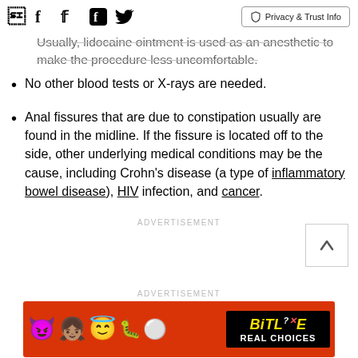Facebook Twitter | Privacy & Trust Info
Usually, lidocaine ointment is used as an anesthetic to make the procedure less uncomfortable.
No other blood tests or X-rays are needed.
Anal fissures that are due to constipation usually are found in the midline. If the fissure is located off to the side, other underlying medical conditions may be the cause, including Crohn's disease (a type of inflammatory bowel disease), HIV infection, and cancer.
ADVERTISEMENT
ADVERTISEMENT
[Figure (other): BitLife Real Choices advertisement banner with emoji characters on red background]